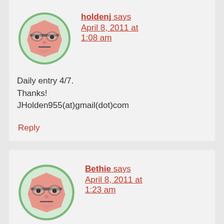holdenj says April 8, 2011 at 1:08 am
[Figure (illustration): Cartoon avatar: a round hexagonal face with glasses on a green circle background]
Daily entry 4/7. Thanks! JHolden955(at)gmail(dot)com
Reply
Bethie says April 8, 2011 at 1:23 am
[Figure (illustration): Cartoon avatar: a round hexagonal face with glasses on a green circle background]
Daily Entry 4/7